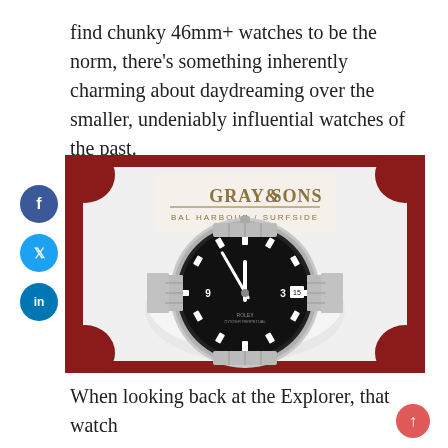find chunky 46mm+ watches to be the norm, there's something inherently charming about daydreaming over the smaller, undeniably influential watches of the past.
[Figure (photo): A Rolex watch with black dial and stainless steel oyster bracelet displayed in a red and white Gray & Sons Bal Harbour Surfside jewelry box. Social media share buttons (Facebook, Twitter, LinkedIn) are overlaid on the left side of the image.]
When looking back at the Explorer, that watch